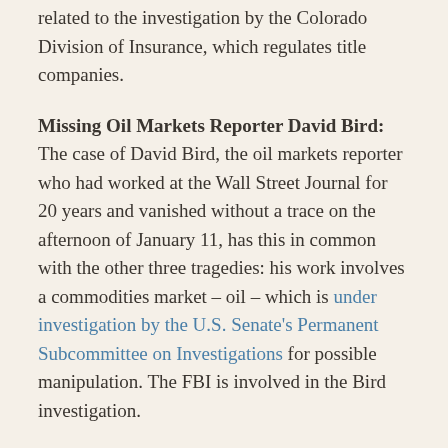related to the investigation by the Colorado Division of Insurance, which regulates title companies.
Missing Oil Markets Reporter David Bird: The case of David Bird, the oil markets reporter who had worked at the Wall Street Journal for 20 years and vanished without a trace on the afternoon of January 11, has this in common with the other three tragedies: his work involves a commodities market – oil – which is under investigation by the U.S. Senate's Permanent Subcommittee on Investigations for possible manipulation. The FBI is involved in the Bird investigation.
Bird left his Long Hill, New Jersey home on that Saturday, telling his wife he was going for a walk. An intentional disappearance is incompatible with the fact...